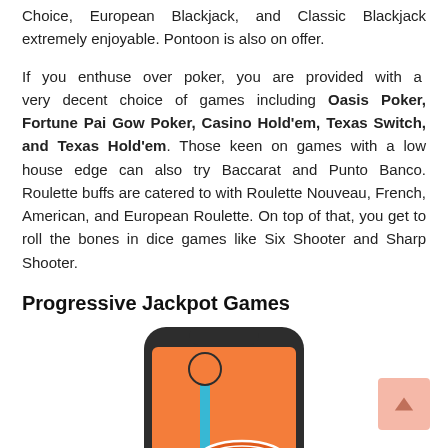Choice, European Blackjack, and Classic Blackjack extremely enjoyable. Pontoon is also on offer.
If you enthuse over poker, you are provided with a very decent choice of games including Oasis Poker, Fortune Pai Gow Poker, Casino Hold'em, Texas Switch, and Texas Hold'em. Those keen on games with a low house edge can also try Baccarat and Punto Banco. Roulette buffs are catered to with Roulette Nouveau, French, American, and European Roulette. On top of that, you get to roll the bones in dice games like Six Shooter and Sharp Shooter.
Progressive Jackpot Games
[Figure (illustration): Illustration of a smartphone with an orange screen showing casino chips and a slot machine lever, depicted in a cartoon style.]